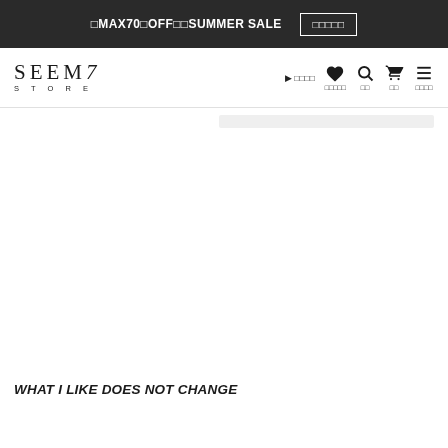□MAX70□OFF□□SUMMER SALE  □□□□□
[Figure (logo): SEEMY STORE logo in serif/sans combination]
▶□□□□  □□□□□  □□  □□  □□□□
WHAT I LIKE DOES NOT CHANGE